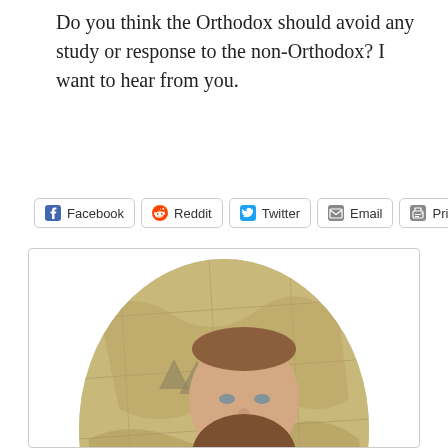Do you think the Orthodox should avoid any study or response to the non-Orthodox? I want to hear from you.
[Figure (other): Row of social share buttons: Facebook, Reddit, Twitter, Email, Print]
[Figure (photo): Oval portrait photo of a bearded man with a map background (Middle-earth style map), wearing a black vest and blue shirt with a gold chain necklace. Text on map reads 'BÁU BELFALAS'.]